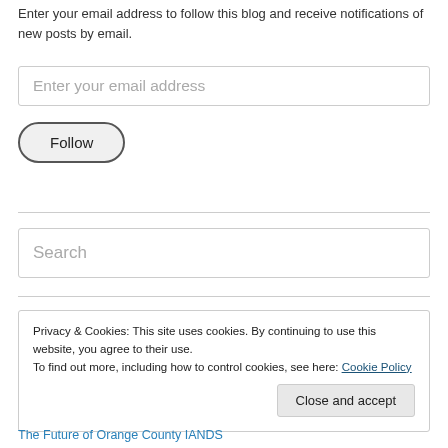Enter your email address to follow this blog and receive notifications of new posts by email.
[Figure (screenshot): Email input field with placeholder text 'Enter your email address']
[Figure (screenshot): Follow button with rounded pill shape]
[Figure (screenshot): Search input field with placeholder text 'Search']
Privacy & Cookies: This site uses cookies. By continuing to use this website, you agree to their use. To find out more, including how to control cookies, see here: Cookie Policy
Close and accept
The Future of Orange County IANDS